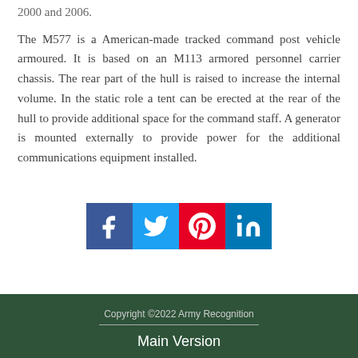2000 and 2006.
The M577 is a American-made tracked command post vehicle armoured. It is based on an M113 armored personnel carrier chassis. The rear part of the hull is raised to increase the internal volume. In the static role a tent can be erected at the rear of the hull to provide additional space for the command staff. A generator is mounted externally to provide power for the additional communications equipment installed.
[Figure (infographic): Social media sharing buttons: Facebook (blue), Twitter (light blue), Pinterest (red), LinkedIn (blue)]
Copyright ©2022 Army Recognition
Main Version